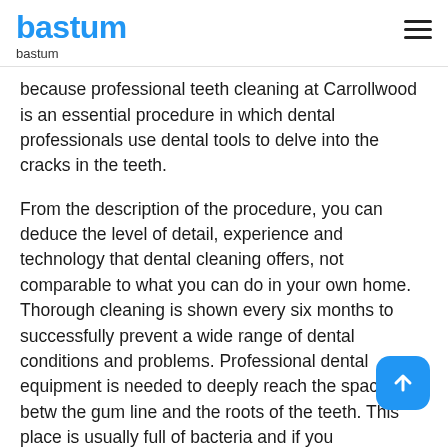bastum
bastum
because professional teeth cleaning at Carrollwood is an essential procedure in which dental professionals use dental tools to delve into the cracks in the teeth.
From the description of the procedure, you can deduce the level of detail, experience and technology that dental cleaning offers, not comparable to what you can do in your own home. Thorough cleaning is shown every six months to successfully prevent a wide range of dental conditions and problems. Professional dental equipment is needed to deeply reach the space between the gum line and the roots of the teeth. This place is usually full of bacteria and if you